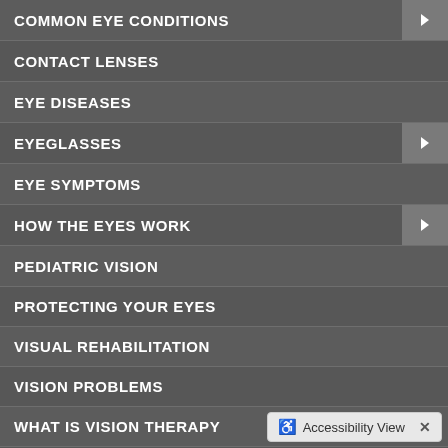COMMON EYE CONDITIONS
CONTACT LENSES
EYE DISEASES
EYEGLASSES
EYE SYMPTOMS
HOW THE EYES WORK
PEDIATRIC VISION
PROTECTING YOUR EYES
VISUAL REHABILITATION
VISION PROBLEMS
WHAT IS VISION THERAPY
VISION THERAPY PROG...
Accessibility View